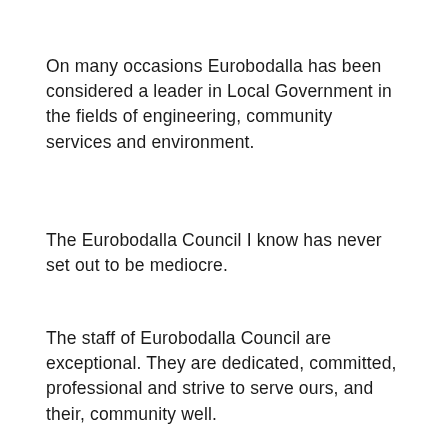On many occasions Eurobodalla has been considered a leader in Local Government in the fields of engineering, community services and environment.
The Eurobodalla Council I know has never set out to be mediocre.
The staff of Eurobodalla Council are exceptional. They are dedicated, committed, professional and strive to serve ours, and their, community well.
Councillors have a role in this as do ...